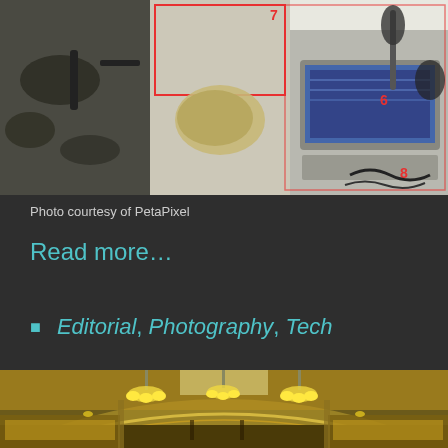[Figure (photo): Photo of various electronics and camera gear laid out on a white surface, with numbered red rectangles highlighting items. Items include cables, headphones, a laptop, microphone, and other tech accessories.]
Photo courtesy of PetaPixel
Read more…
Editorial, Photography, Tech
[Figure (photo): Interior of an ornate building with arched ceiling, hanging chandeliers, and display cases along the walls, lit with warm yellow light.]